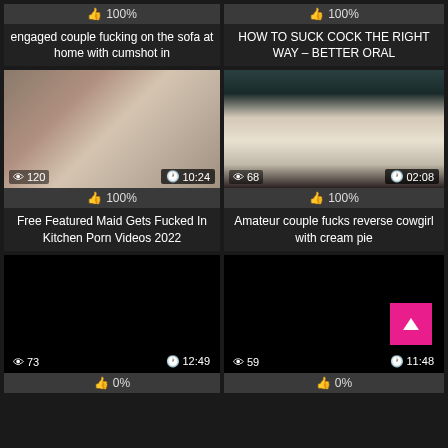[Figure (screenshot): Top partial row: two video thumbnails with 100% rating bars and titles]
engaged couple fucking on the sofa at home with cumshot in
HOW TO SUCK COCK THE RIGHT WAY – BETTER ORAL
[Figure (screenshot): Video thumbnail showing woman in white stockings, 120 views, 10:24 duration, 100% rating. Title: Free Featured Maid Gets Fucked In Kitchen Porn Videos 2022]
[Figure (screenshot): Video thumbnail showing person from behind, 68 views, 02:08 duration, 100% rating. Title: Amateur couple fucks reverse cowgirl with cream pie]
[Figure (screenshot): Video thumbnail black screen, 73 views, 12:49 duration, 0% rating]
[Figure (screenshot): Video thumbnail black screen with pink scroll-to-top button, 59 views, 11:48 duration, 0% rating]